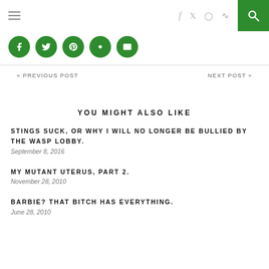Navigation bar with hamburger menu, social icons (f, twitter, instagram, rss), and search button
[Figure (other): Social share buttons row: Facebook, Twitter, Pinterest, Google+, Email — green circular icons]
« PREVIOUS POST    NEXT POST »
YOU MIGHT ALSO LIKE
STINGS SUCK, OR WHY I WILL NO LONGER BE BULLIED BY THE WASP LOBBY.
September 8, 2016
MY MUTANT UTERUS, PART 2.
November 28, 2010
BARBIE? THAT BITCH HAS EVERYTHING.
June 28, 2010